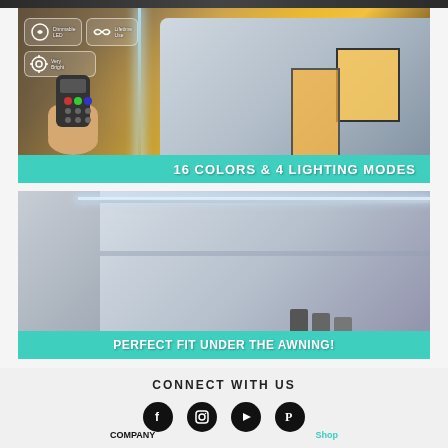[Figure (photo): RV/motorhome at night with colorful lights and a hand holding a remote control. Icons show: Dimmable LED, Lifetime Use, Very Bright. Teal bar at bottom reads: 16 COLORS & 4 LIGHTING MODES]
[Figure (photo): RV/motorhome parked with awning LED strip light installed. Annotation boxes: Wire LED Strip to 12V DC Power - Porch Light, Switch or Direct; Polycarbonate Channel is 1' LONG x 1/2 WIDE x 1/2 DEEP; LED Strip & PC Channel use REAL 3M VHB Tape for EXTRA STRONG HOLD! Teal bar at bottom reads: PERFECT FIT UNDER THE AWNING!]
CONNECT WITH US
[Figure (infographic): Social media icons: Facebook, Instagram, YouTube, Pinterest]
COMPANY
Shop